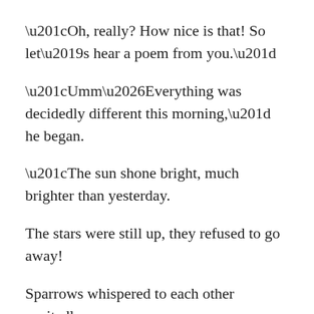“Oh, really? How nice is that! So let’s hear a poem from you.”
“Umm…Everything was decidedly different this morning,” he began.
“The sun shone bright, much brighter than yesterday.
The stars were still up, they refused to go away!
Sparrows whispered to each other excitedly,
The bees were already stumbling in drunken